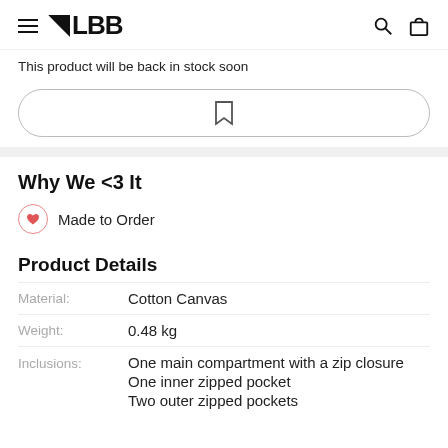LBB
This product will be back in stock soon
[Figure (other): Bookmark/wishlist button with bookmark icon outline]
Why We <3 It
Made to Order
Product Details
| Material: | Cotton Canvas |
| Weight: | 0.48 kg |
| Inclusions: | One main compartment with a zip closure
One inner zipped pocket
Two outer zipped pockets |